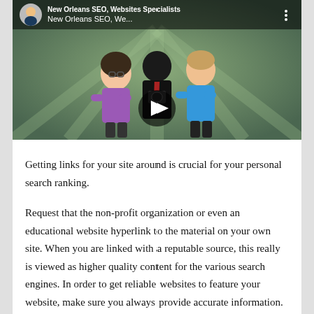[Figure (screenshot): YouTube video thumbnail showing animated cartoon characters (a woman in purple and a man in blue) with a play button overlay. Top bar shows channel avatar, title 'New Orleans SEO, We...' and three-dot menu.]
Getting links for your site around is crucial for your personal search ranking.
Request that the non-profit organization or even an educational website hyperlink to the material on your own site. When you are linked with a reputable source, this really is viewed as higher quality content for the various search engines. In order to get reliable websites to feature your website, make sure you always provide accurate information. Content that is certainly deemed useful by these organizations will in the end become featured.